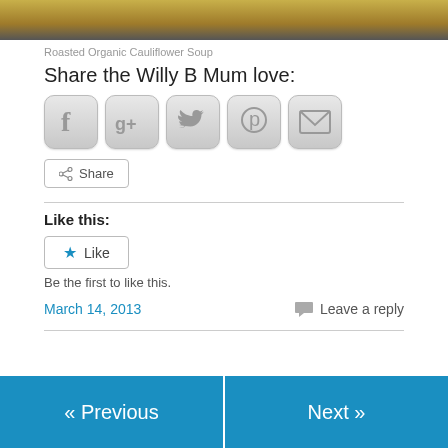[Figure (photo): Top portion of a food photo showing roasted organic cauliflower soup]
Roasted Organic Cauliflower Soup
Share the Willy B Mum love:
[Figure (infographic): Social sharing icons: Facebook, Google+, Twitter, Pinterest, Email]
Share
Like this:
Like
Be the first to like this.
March 14, 2013
Leave a reply
« Previous
Next »